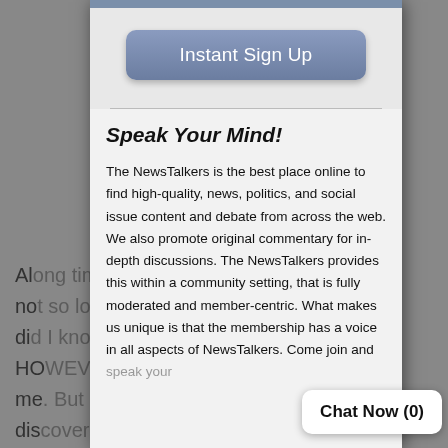[Figure (screenshot): Modal dialog overlaying a website background. Contains an 'Instant Sign Up' button, a section heading 'Speak Your Mind!', descriptive text about NewsTalkers, and a 'Chat Now (0)' bubble in the lower right.]
Instant Sign Up
Speak Your Mind!
The NewsTalkers is the best place online to find high-quality, news, politics, and social issue content and debate from across the web. We also promote original commentary for in-depth discussions. The NewsTalkers provides this within a community setting, that is fully moderated and member-centric. What makes us unique is that the membership has a voice in all aspects of NewsTalkers. Come join and speak your mind".
Chat Now (0)